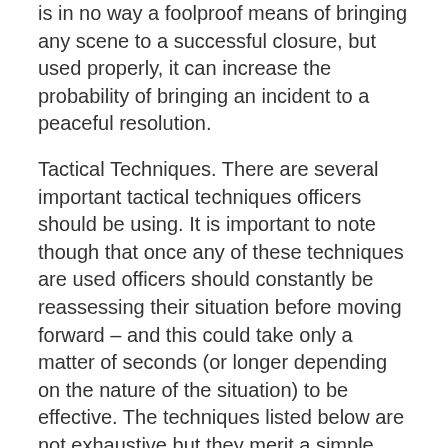is in no way a foolproof means of bringing any scene to a successful closure, but used properly, it can increase the probability of bringing an incident to a peaceful resolution.
Tactical Techniques. There are several important tactical techniques officers should be using. It is important to note though that once any of these techniques are used officers should constantly be reassessing their situation before moving forward – and this could take only a matter of seconds (or longer depending on the nature of the situation) to be effective. The techniques listed below are not exhaustive but they merit a simple description for purposes of clarity:
Assessing the scene. Officers must possess competent situational assessment skills to ...